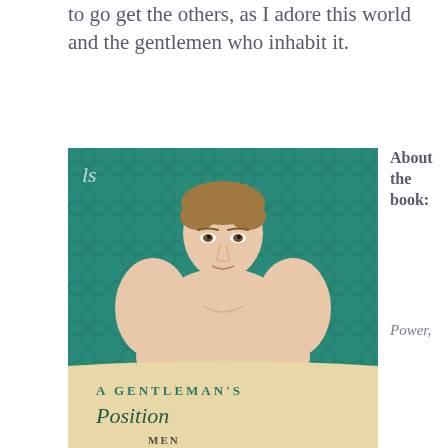to go get the others, as I adore this world and the gentlemen who inhabit it.
[Figure (photo): Book cover of 'A Gentleman's Position' showing a shirtless muscular man with brown hair against a teal damask wallpaper background, with the title text at the bottom on a cream banner. Publisher logo 'LS' visible top left.]
About the book:
Power,